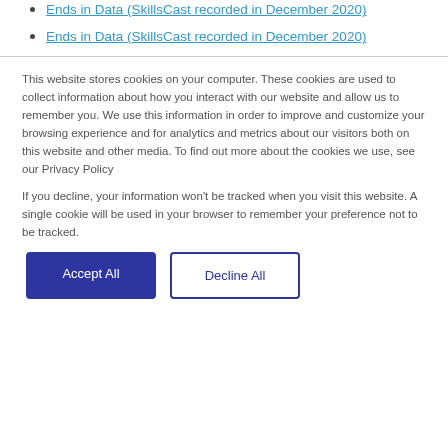Ends in Data (SkillsCast recorded in December 2020)
Ends in Data (SkillsCast recorded in December 2020)
This website stores cookies on your computer. These cookies are used to collect information about how you interact with our website and allow us to remember you. We use this information in order to improve and customize your browsing experience and for analytics and metrics about our visitors both on this website and other media. To find out more about the cookies we use, see our Privacy Policy
If you decline, your information won't be tracked when you visit this website. A single cookie will be used in your browser to remember your preference not to be tracked.